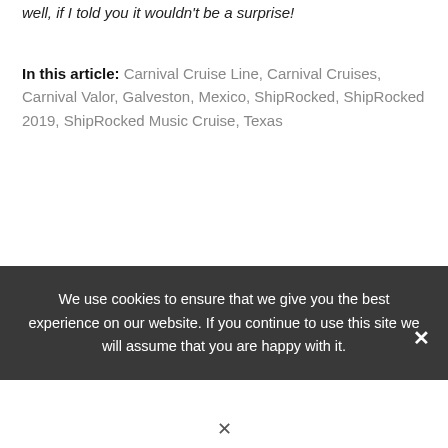well, if I told you it wouldn't be a surprise!
In this article: Carnival Cruise Line, Carnival Cruises, Carnival Valor, Galveston, Mexico, ShipRocked, ShipRocked 2019, ShipRocked Music Cruise, Texas
We use cookies to ensure that we give you the best experience on our website. If you continue to use this site we will assume that you are happy with it.